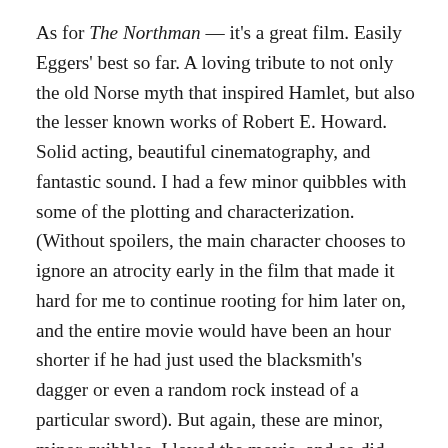As for The Northman — it's a great film. Easily Eggers' best so far. A loving tribute to not only the old Norse myth that inspired Hamlet, but also the lesser known works of Robert E. Howard. Solid acting, beautiful cinematography, and fantastic sound. I had a few minor quibbles with some of the plotting and characterization. (Without spoilers, the main character chooses to ignore an atrocity early in the film that made it hard for me to continue rooting for him later on, and the entire movie would have been an hour shorter if he had just used the blacksmith's dagger or even a random rock instead of a particular sword). But again, these are minor, minor quibbles. I loved the movie, and so did Mary. Although, given that it's been two years, the theater could have been showing us Ernest Goes To Hell or Tyler Perry's Madea Gets A Hemorrhoid and we would have still had a great time.